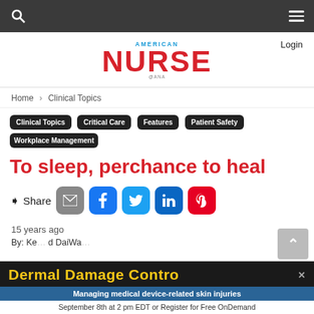American Nurse
Login
[Figure (logo): American Nurse logo with AMERICAN in blue and NURSE in red bold text]
Home > Clinical Topics
Clinical Topics
Critical Care
Features
Patient Safety
Workplace Management
To sleep, perchance to heal
Share
15 years ago
By: Ke... d DaiWa...
[Figure (other): Advertisement banner: Dermal Damage Control - Managing medical device-related skin injuries. September 8th at 2 pm EDT or Register for Free OnDemand]